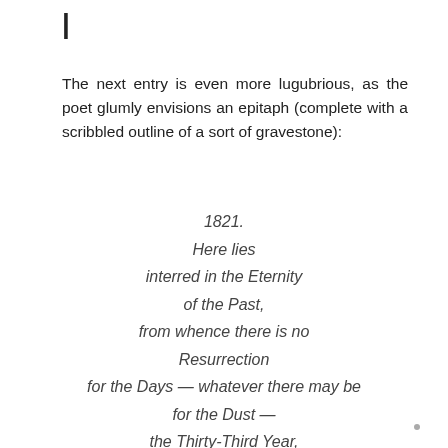I
The next entry is even more lugubrious, as the poet glumly envisions an epitaph (complete with a scribbled outline of a sort of gravestone):
1821.
Here lies
interred in the Eternity
of the Past,
from whence there is no
Resurrection
for the Days — whatever there may be
for the Dust —
the Thirty-Third Year,
of an Ill-spent Life,